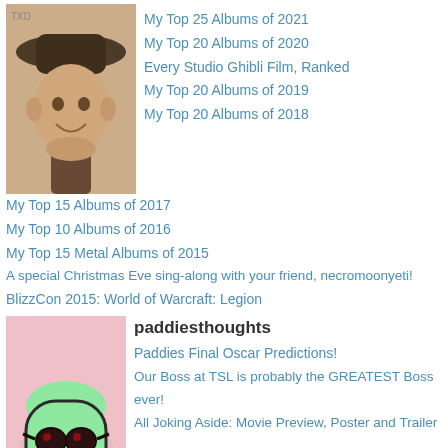[Figure (photo): Sepia-toned photo of a person wearing a dark hat, smiling]
My Top 25 Albums of 2021
My Top 20 Albums of 2020
Every Studio Ghibli Film, Ranked
My Top 20 Albums of 2019
My Top 20 Albums of 2018
My Top 15 Albums of 2017
My Top 10 Albums of 2016
My Top 15 Metal Albums of 2015
A special Christmas Eve sing-along with your friend, necromoonyeti!
BlizzCon 2015: World of Warcraft: Legion
[Figure (illustration): Green cartoon marshmallow character with sunglasses and a wavy mouth on pink background]
paddiesthoughts
Paddies Final Oscar Predictions!
Our Boss at TSL is probably the GREATEST Boss ever!
All Joking Aside: Movie Preview, Poster and Trailer
Funny Pains: Documentary Review, Poster and Trailer
Dear Guest: Movie Preview, Review, Poster, and Trailer
Paddies Reminder; Wash Your Hands!
Wives Of The Skies; Preview and Trailer